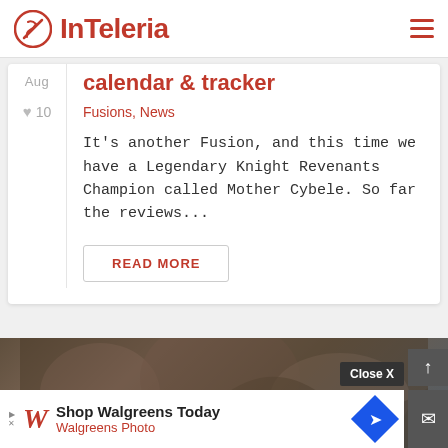InTeleria
calendar & tracker
Fusions, News
It's another Fusion, and this time we have a Legendary Knight Revenants Champion called Mother Cybele. So far the reviews...
READ MORE
[Figure (photo): Dark fantasy artwork showing armored figures, partially visible at the bottom of the page]
Close X
Shop Walgreens Today
Walgreens Photo